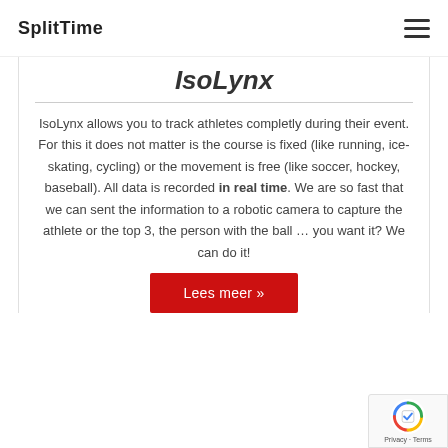SplitTime
IsoLynx
IsoLynx allows you to track athletes completly during their event. For this it does not matter is the course is fixed (like running, ice-skating, cycling) or the movement is free (like soccer, hockey, baseball). All data is recorded in real time. We are so fast that we can sent the information to a robotic camera to capture the athlete or the top 3, the person with the ball ... you want it? We can do it!
Lees meer »